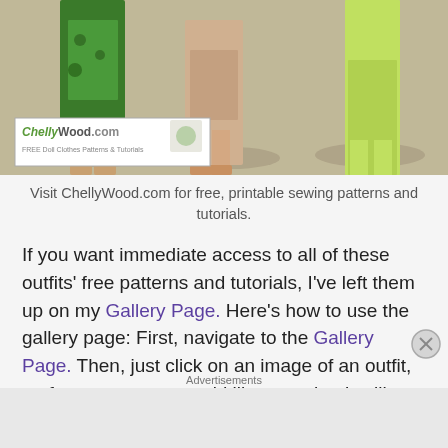[Figure (photo): Photo showing lower halves of mannequins wearing various colorful outfits including a green floral dress and lime green pants, with a ChellyWood.com watermark logo overlay]
Visit ChellyWood.com for free, printable sewing patterns and tutorials.
If you want immediate access to all of these outfits' free patterns and tutorials, I've left them up on my Gallery Page. Here's how to use the gallery page: First, navigate to the Gallery Page. Then, just click on an image of an outfit, craft, or accessory you'd like to make. It will take you to a larger version of that image. Beneath the larger image is a link to a directory page, listing links to
Advertisements